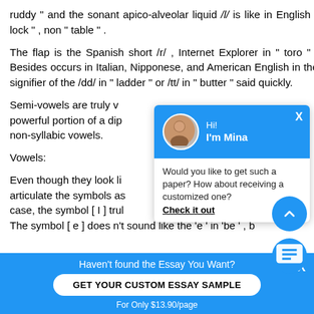ruddy “ and the sonant apico-alveolar liquid /l/ is like in English “ lock “ , non “ table “ .
The flap is the Spanish short /r/ , Internet Explorer in “ toro “ . Besides occurs in Italian, Nipponese, and American English in the signifier of the /dd/ in “ ladder “ or /tt/ in “ butter “ said quickly.
Semi-vowels are truly v... powerful portion of a dip... non-syllabic vowels.
Vowels:
Even though they look li... articulate the symbols as... case, the symbol [ I ] trul... The symbol [ e ] does n’t sound like the ‘e’ in ‘be’ , b...
[Figure (screenshot): Chat popup widget with blue header showing avatar and 'Hi! I'm Mina', with message 'Would you like to get such a paper? How about receiving a customized one? Check it out']
Haven't found the Essay You Want? GET YOUR CUSTOM ESSAY SAMPLE For Only $13.90/page